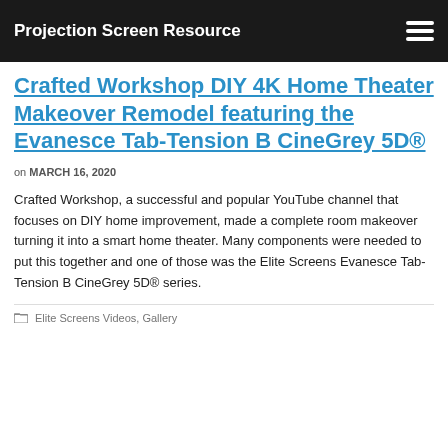Projection Screen Resource
Crafted Workshop DIY 4K Home Theater Makeover Remodel featuring the Evanesce Tab-Tension B CineGrey 5D®
on MARCH 16, 2020
Crafted Workshop, a successful and popular YouTube channel that focuses on DIY home improvement, made a complete room makeover turning it into a smart home theater. Many components were needed to put this together and one of those was the Elite Screens Evanesce Tab-Tension B CineGrey 5D® series.
Elite Screens Videos, Gallery